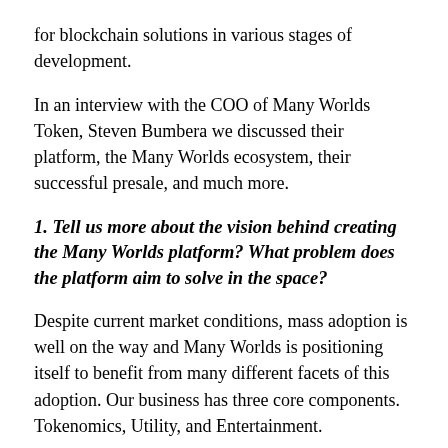for blockchain solutions in various stages of development.
In an interview with the COO of Many Worlds Token, Steven Bumbera we discussed their platform, the Many Worlds ecosystem, their successful presale, and much more.
1. Tell us more about the vision behind creating the Many Worlds platform? What problem does the platform aim to solve in the space?
Despite current market conditions, mass adoption is well on the way and Many Worlds is positioning itself to benefit from many different facets of this adoption. Our business has three core components. Tokenomics, Utility, and Entertainment.
From the tokenomics perspective, we have two major